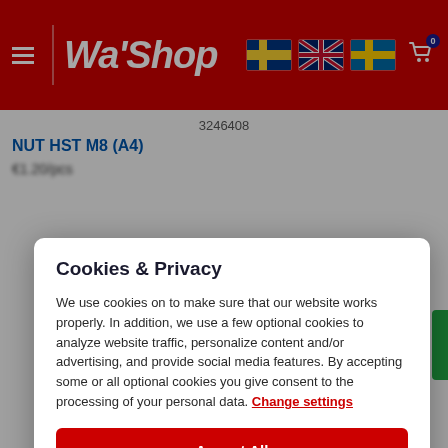[Figure (screenshot): Wa'Shop website header with red background, hamburger menu icon, Wa'Shop logo in white italic text, Finnish, UK, and Swedish flag icons, and a shopping cart icon with badge showing 0]
3246408
NUT HST M8 (A4)
Cookies & Privacy
We use cookies on to make sure that our website works properly. In addition, we use a few optional cookies to analyze website traffic, personalize content and/or advertising, and provide social media features. By accepting some or all optional cookies you give consent to the processing of your personal data. Change settings
Accept All
Accept Necessary Only